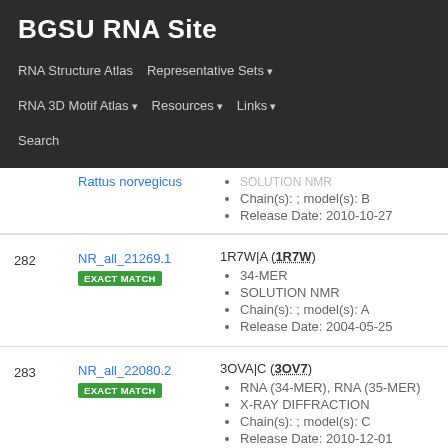BGSU RNA Site
RNA Structure Atlas | Representative Sets ▾ | RNA 3D Motif Atlas ▾ | Resources ▾ | Links ▾ | Search
| # | ID | Details |
| --- | --- | --- |
|  | Rattus norvegicus | SOLUTION NMR • Chain(s): ; model(s): B • Release Date: 2010-10-27 |
| 282 | NR_all_21269.1 EXACT MATCH | 1R7W|A (1R7W) • 34-MER • SOLUTION NMR • Chain(s): ; model(s): A • Release Date: 2004-05-25 |
| 283 | NR_all_22080.2 EXACT MATCH | 3OVA|C (3OV7) • RNA (34-MER), RNA (35-MER) • X-RAY DIFFRACTION • Chain(s): ; model(s): C • Release Date: 2010-12-01 |